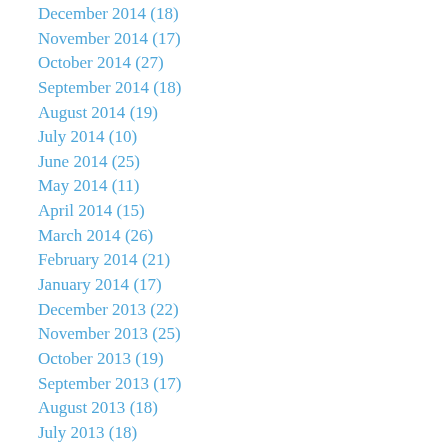December 2014 (18)
November 2014 (17)
October 2014 (27)
September 2014 (18)
August 2014 (19)
July 2014 (10)
June 2014 (25)
May 2014 (11)
April 2014 (15)
March 2014 (26)
February 2014 (21)
January 2014 (17)
December 2013 (22)
November 2013 (25)
October 2013 (19)
September 2013 (17)
August 2013 (18)
July 2013 (18)
June 2013 (12)
May 2013 (21)